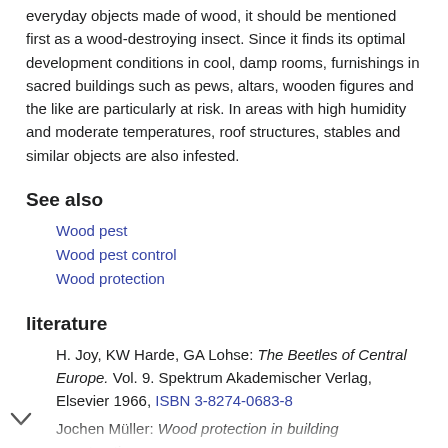everyday objects made of wood, it should be mentioned first as a wood-destroying insect. Since it finds its optimal development conditions in cool, damp rooms, furnishings in sacred buildings such as pews, altars, wooden figures and the like are particularly at risk. In areas with high humidity and moderate temperatures, roof structures, stables and similar objects are also infested.
See also
Wood pest
Wood pest control
Wood protection
literature
H. Joy, KW Harde, GA Lohse: The Beetles of Central Europe. Vol. 9. Spektrum Akademischer Verlag, Elsevier 1966, ISBN 3-8274-0683-8
Jochen Müller: Wood protection in building construction